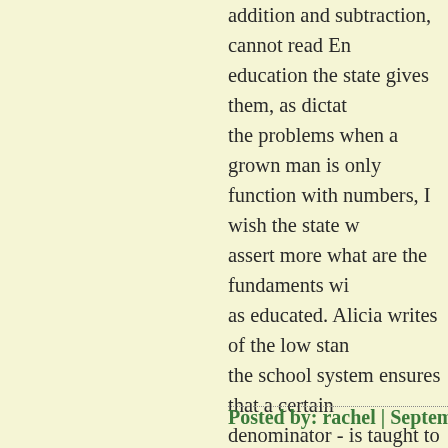addition and subtraction, cannot read En education the state gives them, as dictat the problems when a grown man is only function with numbers, I wish the state w assert more what are the fundaments wi as educated. Alicia writes of the low stan the school system ensures that a certain denominator - is taught to everyone. I ca how low the bar is set; but I wonder whe alternative source of education does not achieving even that lowest standard.
and now that I've ranted and rambeld, I'm does one have to be certified to homesch teaching certain basics? Please correct m completely up to the parent what one tea
Posted by: rachel | September 19, 2005 at 12:19 P
PS: I don't mean that the only people wh educated parents; seems like there migh pushing their kids. I'm thinking of JS Mill doing other things, but as I recall his fath together with teething, had him memoriz